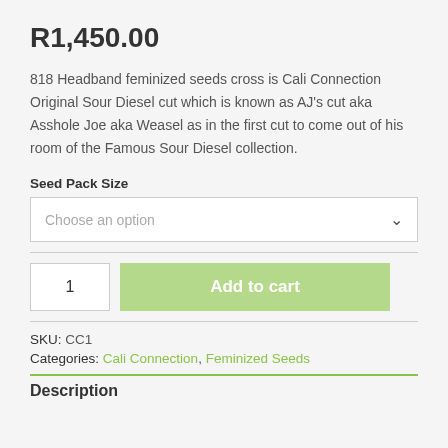R1,450.00
818 Headband feminized seeds cross is Cali Connection Original Sour Diesel cut which is known as AJ's cut aka Asshole Joe aka Weasel as in the first cut to come out of his room of the Famous Sour Diesel collection.
Seed Pack Size
Choose an option
1
Add to cart
SKU: CC1
Categories: Cali Connection, Feminized Seeds
Description